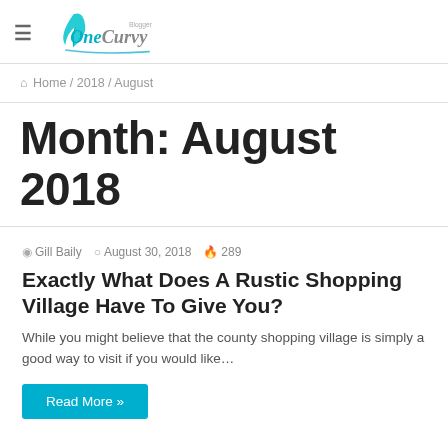OneCurvy Blogger
Home / 2018 / August
Month: August 2018
Gill Baily   August 30, 2018   289
Exactly What Does A Rustic Shopping Village Have To Give You?
While you might believe that the county shopping village is simply a good way to visit if you would like…
Read More »